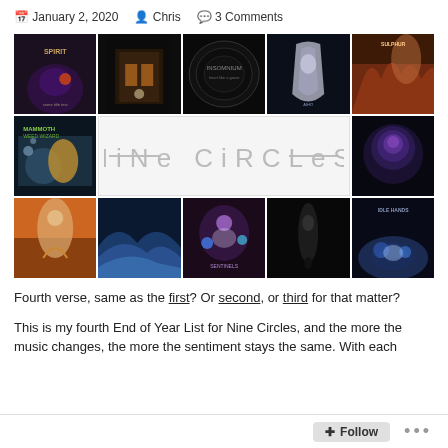January 2, 2020   Chris   3 Comments
[Figure (photo): A collage of 12 album covers arranged in a 5-column by 3-row grid with Nine Circles logo in the center spanning 3 columns of the middle row]
Fourth verse, same as the first? Or second, or third for that matter?
This is my fourth End of Year List for Nine Circles, and the more the music changes, the more the sentiment stays the same. With each